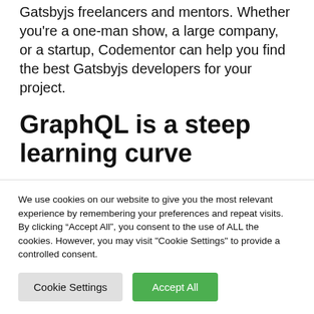Gatsbyjs freelancers and mentors. Whether you're a one-man show, a large company, or a startup, Codementor can help you find the best Gatsbyjs developers for your project.
GraphQL is a steep learning curve
GraphQL is an incredibly powerful language that lets you create dynamic websites. This technology also
We use cookies on our website to give you the most relevant experience by remembering your preferences and repeat visits. By clicking “Accept All”, you consent to the use of ALL the cookies. However, you may visit "Cookie Settings" to provide a controlled consent.